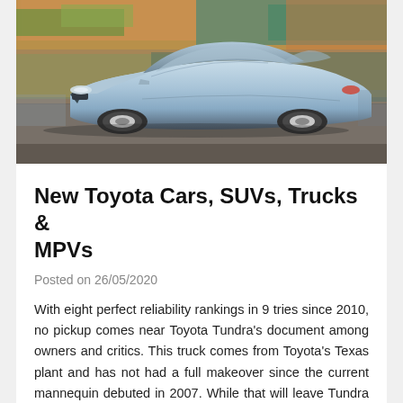[Figure (photo): A silver sports car (Fisker Karma) driving on a road with motion-blurred colorful background]
New Toyota Cars, SUVs, Trucks & MPVs
Posted on 26/05/2020
With eight perfect reliability rankings in 9 tries since 2010, no pickup comes near Toyota Tundra's document among owners and critics. This truck comes from Toyota's Texas plant and has not had a full makeover since the current mannequin debuted in 2007. While that will leave Tundra behind a few of the U.S.-branded competition, sensible consumers might be joyful nothing a lot has changed. Outside of Lexus, it's